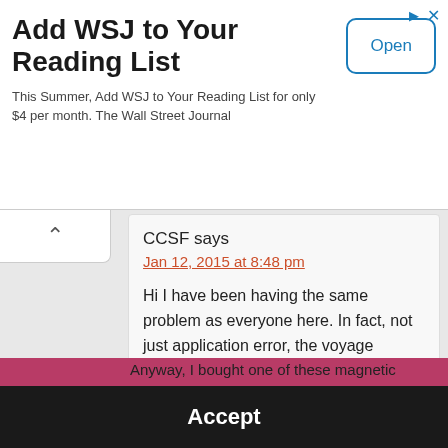[Figure (screenshot): Advertisement banner for WSJ (Wall Street Journal) with title, subtitle, and Open button]
Add WSJ to Your Reading List
This Summer, Add WSJ to Your Reading List for only $4 per month. The Wall Street Journal
CCSF says
Jan 12, 2015 at 8:48 pm
Hi I have been having the same problem as everyone here. In fact, not just application error, the voyage sometimes freezes up after I wake it up. Sometimes the kindle is
We use cookies to optimize our website and our service.  Cookie Policy (US)  -  Privacy statement
Accept
Anyway, I bought one of these magnetic